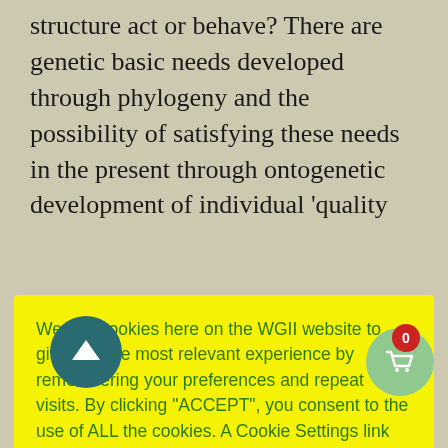structure act or behave? There are genetic basic needs developed through phylogeny and the possibility of satisfying these needs in the present through ontogenetic development of individual 'quality
We use cookies here on the WGII website to give you the most relevant experience by remembering your preferences and repeat visits. By clicking “ACCEPT”, you consent to the use of ALL the cookies. A Cookie Settings link will always be available at the foot of this page.
Cookie settings  ACCEPT
and a get. When we perceive an unsatisfied want, we then choose to take action, think thoughts, generate emotions, and produce physiological processes. All this linked, a person is demonstrating a behaviour that has the purpose of satisfying all basic needs even